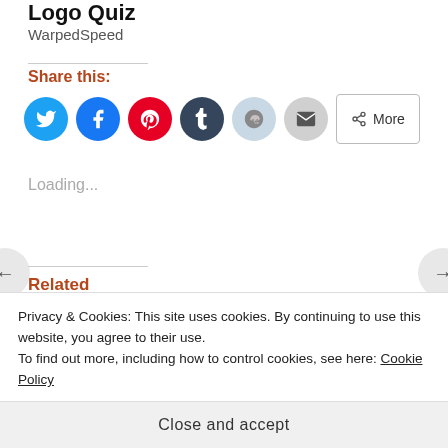Logo Quiz
WarpedSpeed
Share this:
[Figure (infographic): Social sharing buttons: Twitter (blue circle), Facebook (blue circle), Pinterest (red circle), Tumblr (dark circle), Reddit (light blue circle), Email (grey circle), More button]
Loading...
Related
[Figure (photo): Two thumbnail images for related articles, partially visible]
Privacy & Cookies: This site uses cookies. By continuing to use this website, you agree to their use.
To find out more, including how to control cookies, see here: Cookie Policy
Close and accept